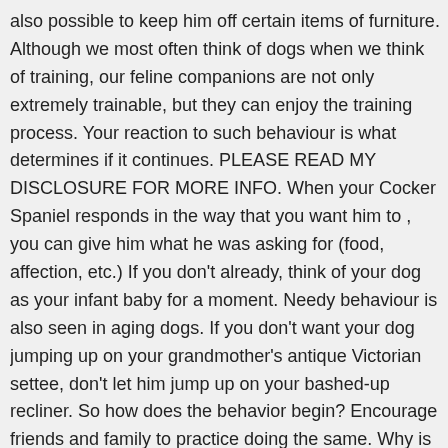also possible to keep him off certain items of furniture. Although we most often think of dogs when we think of training, our feline companions are not only extremely trainable, but they can enjoy the training process. Your reaction to such behaviour is what determines if it continues. PLEASE READ MY DISCLOSURE FOR MORE INFO. When your Cocker Spaniel responds in the way that you want him to , you can give him what he was asking for (food, affection, etc.) If you don't already, think of your dog as your infant baby for a moment. Needy behaviour is also seen in aging dogs. If you don't want your dog jumping up on your grandmother's antique Victorian settee, don't let him jump up on your bashed-up recliner. So how does the behavior begin? Encourage friends and family to practice doing the same. Why is my dog so needy for attention? There are probably worse things than being loved that much, but at some point, needy dog behavior can become annoying. Any cookies that may not be particularly necessary for the website to function and is used specifically to collect user personal data via analytics, ads, other embedded contents are termed as non-necessary cookies. As a matter of fact, they thrive on